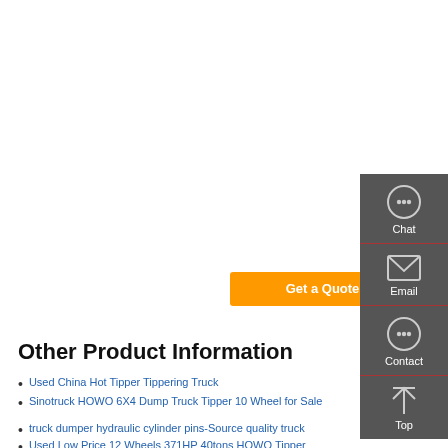371HP Tractor Truck Trailer Head Tractor Head Second Hand Heavy Duty Trucks Tipper Truck 6X4 Dump Truck Hot Sale for Africa. FOB Price: US $ 5500-9500 / Piece. Min. Order: 1 Piece.
[Figure (other): Orange 'Get a Quote' button]
[Figure (other): Dark grey sidebar with Chat, Email, Contact, and Top navigation icons]
Other Product Information
Used China Hot Tipper Tippering Truck
Sinotruck HOWO 6X4 Dump Truck Tipper 10 Wheel for Sale
truck dumper hydraulic cylinder pins-Source quality truck
Used Low Price 12 Wheels 371HP 40tons HOWO Tipper